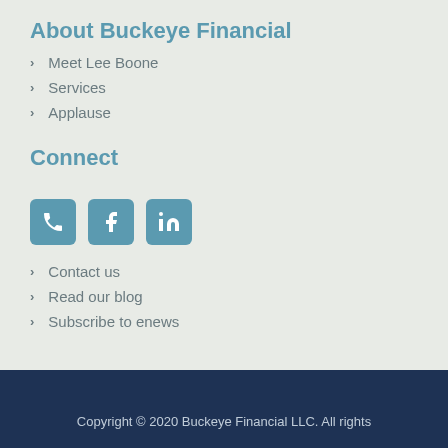About Buckeye Financial
Meet Lee Boone
Services
Applause
Connect
[Figure (other): Three social media icon buttons: phone, Facebook, LinkedIn]
Contact us
Read our blog
Subscribe to enews
Copyright © 2020 Buckeye Financial LLC. All rights